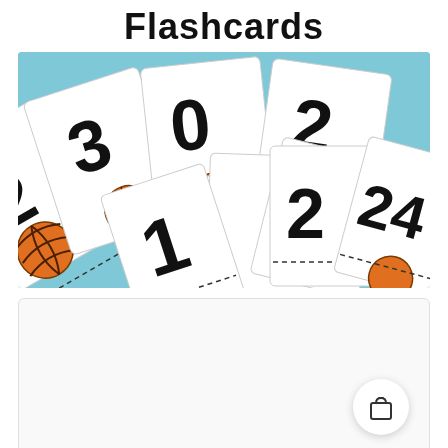Flashcards
[Figure (photo): A fan of white flashcards spread on a light blue background. The cards show large black numbers (2, 3, 0, 2, 1, 2, 24) in dotted/outlined font with orange basketball images on them. The cards are arranged in two overlapping fan patterns.]
[Figure (other): A white rounded rectangle panel with a shopping bag icon button (circle with bag outline) in the lower right corner.]